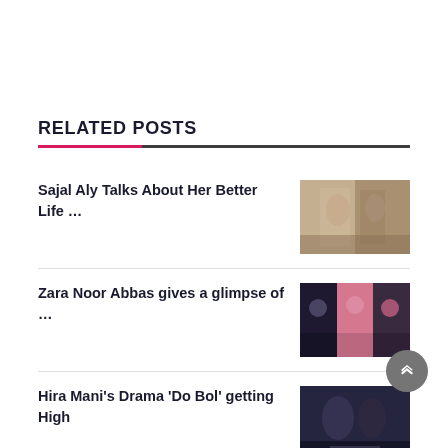RELATED POSTS
Sajal Aly Talks About Her Better Life ...
[Figure (photo): Photo of two people in traditional clothing, likely a couple in elegant attire]
Zara Noor Abbas gives a glimpse of ...
[Figure (photo): Collage of photos showing people at an event, colorful lighting]
Hira Mani's Drama 'Do Bol' getting High